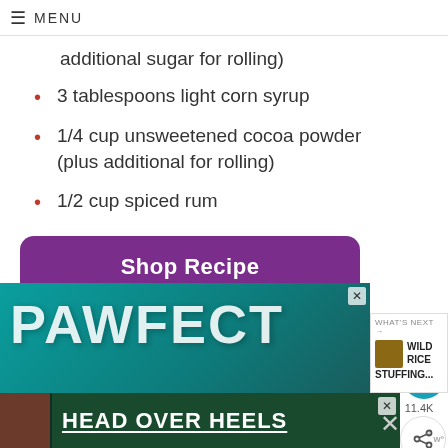≡ MENU
additional sugar for rolling)
3 tablespoons light corn syrup
1/4 cup unsweetened cocoa powder (plus additional for rolling)
1/2 cup spiced rum
Shop Recipe
Powered by chicory
[Figure (screenshot): PAWFECT advertisement banner with teal/green background]
[Figure (screenshot): HEAD OVER HEELS advertisement banner with dark green background and dog image]
WHAT'S NEXT → WILD RICE STUFFING...